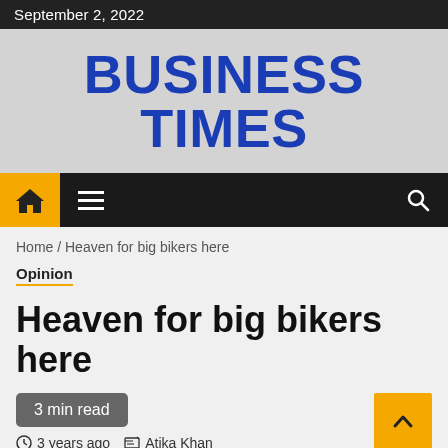September 2, 2022
BUSINESS TIMES
[Figure (screenshot): Navigation bar with home icon in yellow box, hamburger menu icon, and search icon on dark background]
Home / Heaven for big bikers here
Opinion
Heaven for big bikers here
3 min read
3 years ago  Atika Khan